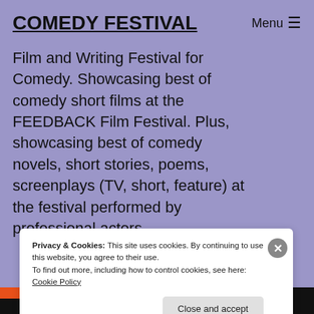COMEDY FESTIVAL
Menu ☰
Film and Writing Festival for Comedy. Showcasing best of comedy short films at the FEEDBACK Film Festival. Plus, showcasing best of comedy novels, short stories, poems, screenplays (TV, short, feature) at the festival performed by professional actors.
Privacy & Cookies: This site uses cookies. By continuing to use this website, you agree to their use.
To find out more, including how to control cookies, see here: Cookie Policy
Close and accept